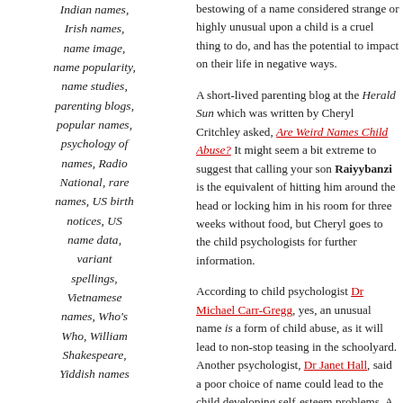Indian names, Irish names, name image, name popularity, name studies, parenting blogs, popular names, psychology of names, Radio National, rare names, US birth notices, US name data, variant spellings, Vietnamese names, Who's Who, William Shakespeare, Yiddish names
bestowing of a name considered strange or highly unusual upon a child is a cruel thing to do, and has the potential to impact on their life in negative ways.
A short-lived parenting blog at the Herald Sun which was written by Cheryl Critchley asked, Are Weird Names Child Abuse? It might seem a bit extreme to suggest that calling your son Raiyybanzi is the equivalent of hitting him around the head or locking him in his room for three weeks without food, but Cheryl goes to the child psychologists for further information.
According to child psychologist Dr Michael Carr-Gregg, yes, an unusual name is a form of child abuse, as it will lead to non-stop teasing in the schoolyard. Another psychologist, Dr Janet Hall, said a poor choice of name could lead to the child developing self-esteem problems. A name that others constantly question and mock is a "constant attack...